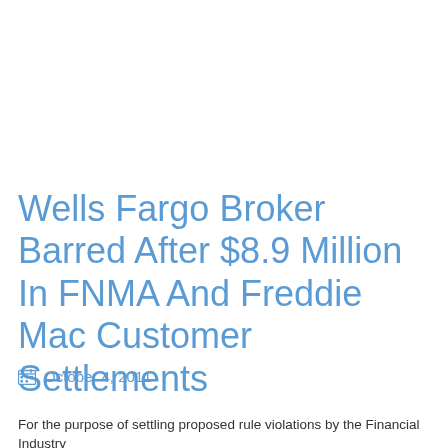Wells Fargo Broker Barred After $8.9 Million In FNMA And Freddie Mac Customer Settlements
October 4, 2011
For the purpose of settling proposed rule violations by the Financial Industry